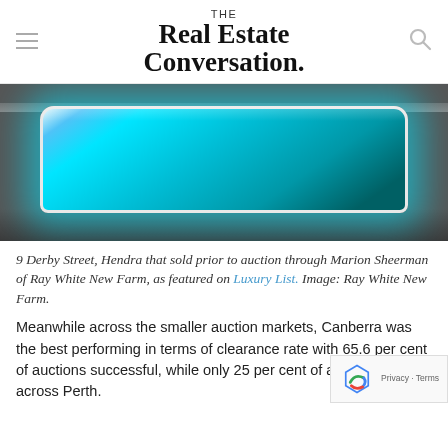THE Real Estate Conversation.
[Figure (photo): A luxury swim spa with bright blue glowing water inside a modern indoor/outdoor space, viewed from an angle showing the full length of the pool.]
9 Derby Street, Hendra that sold prior to auction through Marion Sheerman of Ray White New Farm, as featured on Luxury List. Image: Ray White New Farm.
Meanwhile across the smaller auction markets, Canberra was the best performing in terms of clearance rate with 65.6 per cent of auctions successful, while only 25 per cent of auctions cleared across Perth.